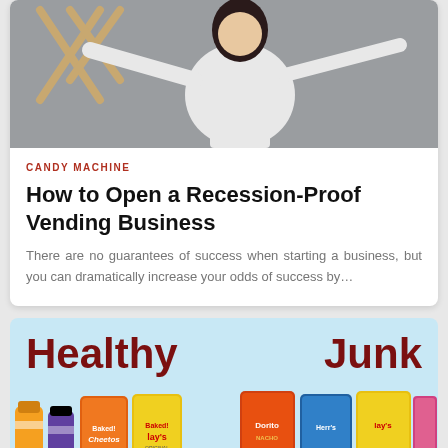[Figure (photo): Woman in white long-sleeve top with arms outstretched, with wooden X-shaped structures in the background, against a gray wall.]
CANDY MACHINE
How to Open a Recession-Proof Vending Business
There are no guarantees of success when starting a business, but you can dramatically increase your odds of success by…
[Figure (infographic): Infographic with light blue background showing 'Healthy' on left side and 'Junk' on right side in dark red bold text, with photos of healthy snacks (baked chips, juice) on the left and junk food packages (Doritos, Herr's, Lay's) on the right.]